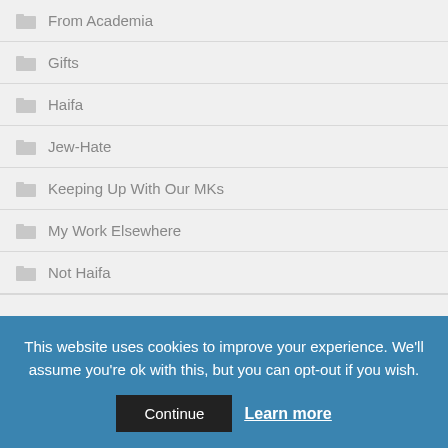From Academia
Gifts
Haifa
Jew-Hate
Keeping Up With Our MKs
My Work Elsewhere
Not Haifa
This website uses cookies to improve your experience. We'll assume you're ok with this, but you can opt-out if you wish. Continue Learn more